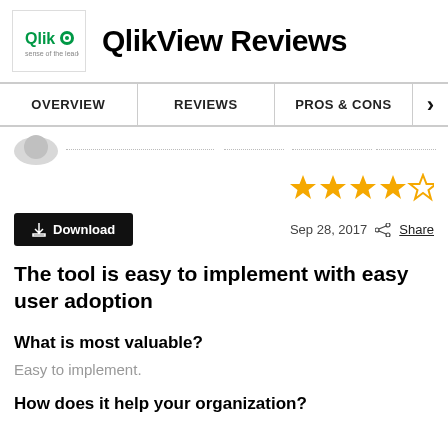QlikView Reviews
| OVERVIEW | REVIEWS | PROS & CONS | > |
| --- | --- | --- | --- |
[Figure (other): Star rating: 4 out of 5 stars (4 filled yellow stars, 1 empty outline star)]
Sep 28, 2017  Share
The tool is easy to implement with easy user adoption
What is most valuable?
Easy to implement.
How does it help your organization?